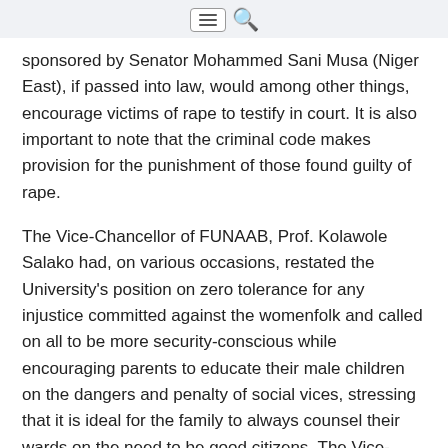[menu icon] [search icon]
sponsored by Senator Mohammed Sani Musa (Niger East), if passed into law, would among other things, encourage victims of rape to testify in court. It is also important to note that the criminal code makes provision for the punishment of those found guilty of rape.
The Vice-Chancellor of FUNAAB, Prof. Kolawole Salako had, on various occasions, restated the University's position on zero tolerance for any injustice committed against the womenfolk and called on all to be more security-conscious while encouraging parents to educate their male children on the dangers and penalty of social vices, stressing that it is ideal for the family to always counsel their wards on the need to be good citizens. The Vice-Chancellor had equally encouraged victims to expose culprits so as to be brought to book,